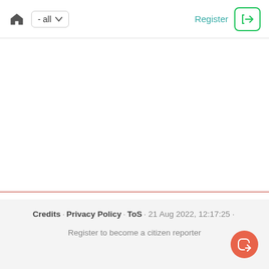- all   Register
Credits · Privacy Policy · ToS · 21 Aug 2022, 12:17:25 · Register to become a citizen reporter